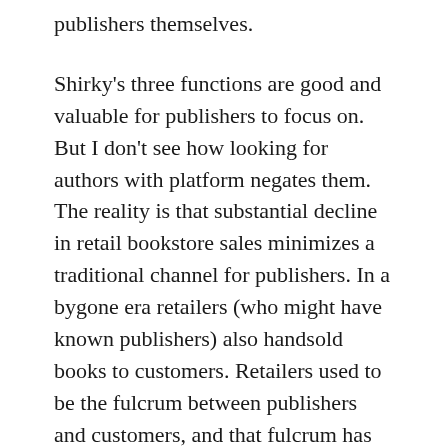publishers themselves.
Shirky's three functions are good and valuable for publishers to focus on. But I don't see how looking for authors with platform negates them. The reality is that substantial decline in retail bookstore sales minimizes a traditional channel for publishers. In a bygone era retailers (who might have known publishers) also handsold books to customers. Retailers used to be the fulcrum between publishers and customers, and that fulcrum has shifted to the author. And as I've said here before, authors without platform rarely do well.
What do publishers offer, then, with self-